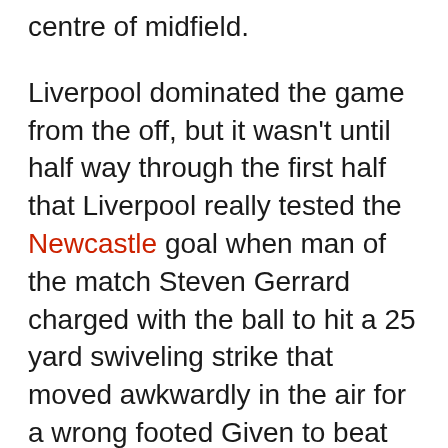centre of midfield.
Liverpool dominated the game from the off, but it wasn't until half way through the first half that Liverpool really tested the Newcastle goal when man of the match Steven Gerrard charged with the ball to hit a 25 yard swiveling strike that moved awkwardly in the air for a wrong footed Given to beat away the ball well from danger. Liverpool were looking more comfortable by the minute with a rare sight to behold enforced this when we saw Jamie Carragher bombing forward to hit a 40 yard strike to see it fly way wide of Shay Givens net. (maybe next time Jamie, keep trying) Liverpool got their reward for their dominance when they were awarded a free kick in shooting range of the Newcastle goal. The